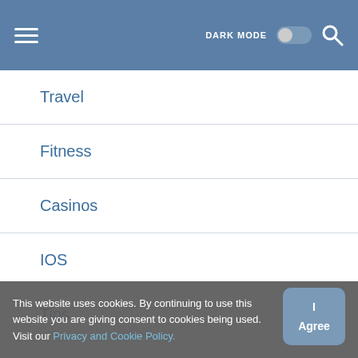DARK MODE [toggle] [search]
Travel
Fitness
Casinos
IOS
Tips
Canada
This website uses cookies. By continuing to use this website you are giving consent to cookies being used. Visit our Privacy and Cookie Policy.